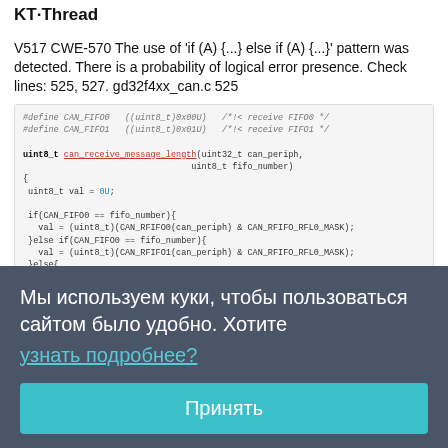KT·Thread
V517 CWE-570 The use of 'if (A) {...} else if (A) {...}' pattern was detected. There is a probability of logical error presence. Check lines: 525, 527. gd32f4xx_can.c 525
[Figure (screenshot): C code snippet showing CAN_FIFO0 and CAN_FIFO1 defines, and can_receive_message_length function with if/else if/else pattern.]
Мы используем куки, чтобы пользоваться сайтом было удобно. Хотите узнать подробнее?
Принять